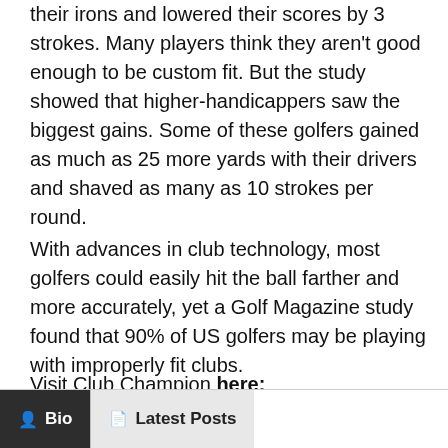their irons and lowered their scores by 3 strokes. Many players think they aren't good enough to be custom fit. But the study showed that higher-handicappers saw the biggest gains. Some of these golfers gained as much as 25 more yards with their drivers and shaved as many as 10 strokes per round.
With advances in club technology, most golfers could easily hit the ball farther and more accurately, yet a Golf Magazine study found that 90% of US golfers may be playing with improperly fit clubs.
Visit Club Champion here:
Bio | Latest Posts